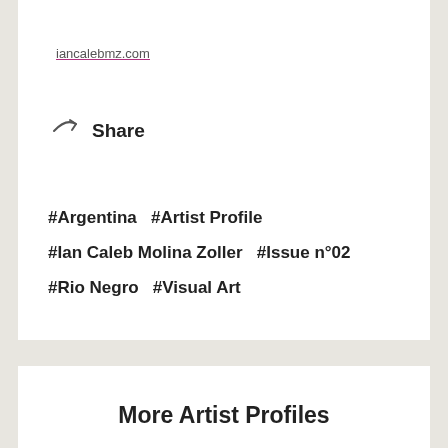iancalebmz.com
Share
#Argentina   #Artist Profile
#Ian Caleb Molina Zoller   #Issue n°02
#Rio Negro   #Visual Art
More Artist Profiles